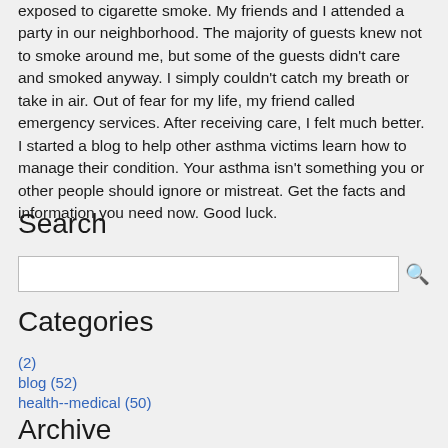exposed to cigarette smoke. My friends and I attended a party in our neighborhood. The majority of guests knew not to smoke around me, but some of the guests didn't care and smoked anyway. I simply couldn't catch my breath or take in air. Out of fear for my life, my friend called emergency services. After receiving care, I felt much better. I started a blog to help other asthma victims learn how to manage their condition. Your asthma isn't something you or other people should ignore or mistreat. Get the facts and information you need now. Good luck.
Search
Categories
(2)
blog (52)
health--medical (50)
Archive